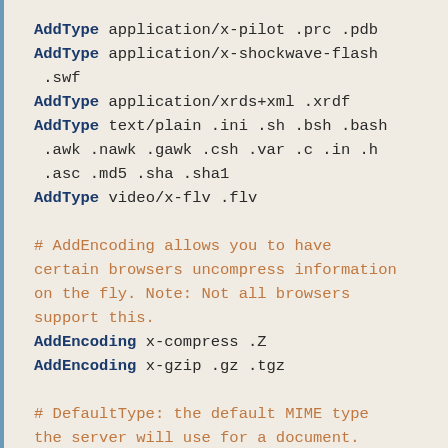AddType application/x-pilot .prc .pdb
AddType application/x-shockwave-flash .swf
AddType application/xrds+xml .xrdf
AddType text/plain .ini .sh .bsh .bash .awk .nawk .gawk .csh .var .c .in .h .asc .md5 .sha .sha1
AddType video/x-flv .flv
# AddEncoding allows you to have certain browsers uncompress information on the fly. Note: Not all browsers support this.
AddEncoding x-compress .Z
AddEncoding x-gzip .gz .tgz
# DefaultType: the default MIME type the server will use for a document.
DefaultType text/html